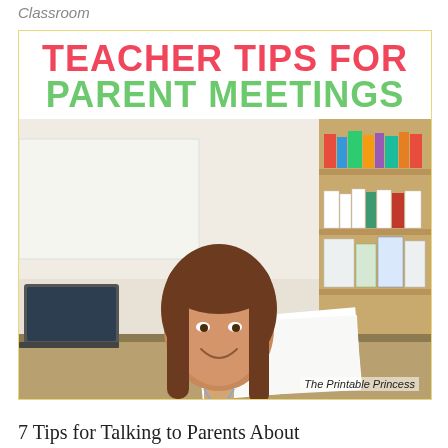Classroom
[Figure (photo): Cover image for 'Teacher Tips for Parent Meetings' article. Text overlay reads 'TEACHER TIPS FOR PARENT MEETINGS' in bold pink and green letters. Below is a photo of a young female teacher with long brown hair, sitting at a desk in a classroom, smiling at the camera. She is wearing a light blue shirt and holding a pencil over papers. A laptop is visible on the left, and bookshelves are visible in the background. Credit reads 'The Printable Princess'.]
7 Tips for Talking to Parents About